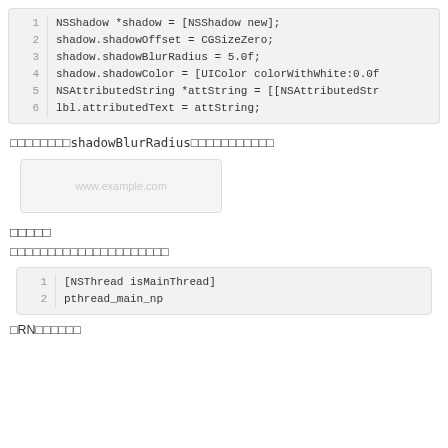[Figure (screenshot): Code block showing Objective-C shadow setup: NSShadow creation, shadowOffset, shadowBlurRadius, shadowColor, NSAttributedString, and lbl.attributedText assignment]
□□□□□□□□shadowBlurRadius□□□□□□□□□□□
[Figure (screenshot): Image placeholder showing www.example.com watermark text in a light grey box]
□□□□□
□□□□□□□□□□□□□□□□□□□□□
[Figure (screenshot): Code block with 2 lines: [NSThread isMainThread] and pthread_main_np]
□RN□□□□□□